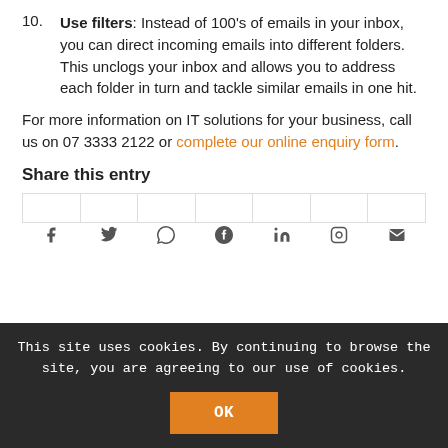Use filters: Instead of 100's of emails in your inbox, you can direct incoming emails into different folders. This unclogs your inbox and allows you to address each folder in turn and tackle similar emails in one hit.
For more information on IT solutions for your business, call us on 07 3333 2122 or complete our online enquiry form.
Share this entry
[Figure (other): Social sharing icons row: Facebook, Twitter, WhatsApp, Pinterest, LinkedIn, Instagram, Email]
This site uses cookies. By continuing to browse the site, you are agreeing to our use of cookies.